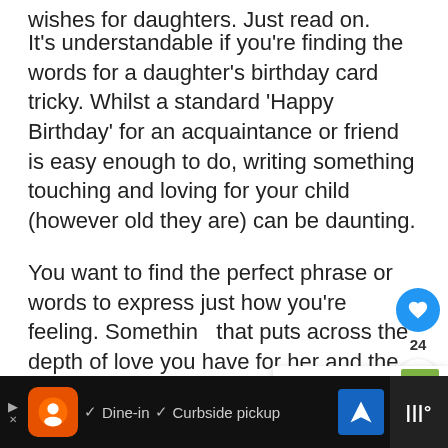wishes for daughters. Just read on.
It’s understandable if you’re finding the words for a daughter’s birthday card tricky. Whilst a standard ‘Happy Birthday’ for an acquaintance or friend is easy enough to do, writing something touching and loving for your child (however old they are) can be daunting.
You want to find the perfect phrase or words to express just how you’re feeling. Something that puts across the depth of love you have for her and the happiness she has brought to your life. That’s hard to do though, right?
[Figure (other): Advertisement bar at the bottom: black background with restaurant app ad showing dine-in and curbside pickup options, navigation icon, and a separate right panel]